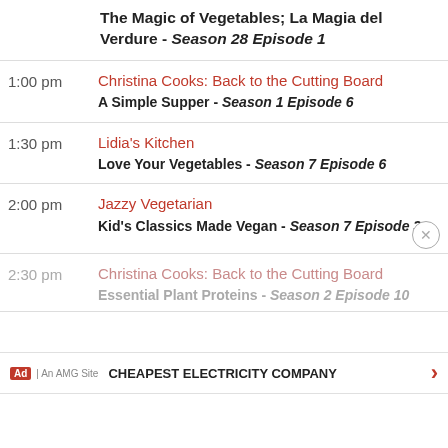The Magic of Vegetables; La Magia del Verdure - Season 28 Episode 1
1:00 pm | Christina Cooks: Back to the Cutting Board | A Simple Supper - Season 1 Episode 6
1:30 pm | Lidia's Kitchen | Love Your Vegetables - Season 7 Episode 6
2:00 pm | Jazzy Vegetarian | Kid's Classics Made Vegan - Season 7 Episode 3
2:30 pm | Christina Cooks: Back to the Cutting Board | Essential Plant Proteins - Season 2 Episode 10
CHEAPEST ELECTRICITY COMPANY | Ad | An AMG Site